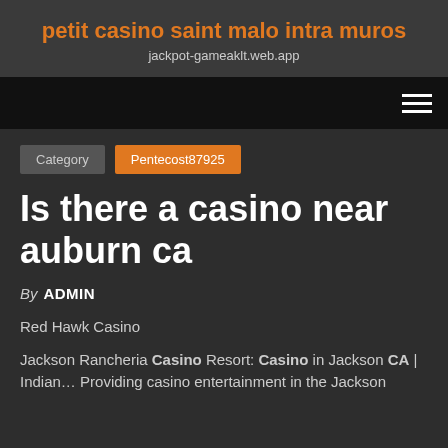petit casino saint malo intra muros
jackpot-gameaklt.web.app
Category  Pentecost87925
Is there a casino near auburn ca
By ADMIN
Red Hawk Casino
Jackson Rancheria Casino Resort: Casino in Jackson CA | Indian… Providing casino entertainment in the Jackson